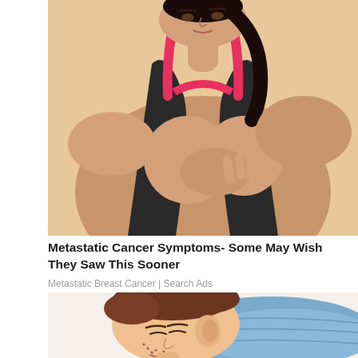[Figure (photo): A woman in a black and pink sports bra holding her chest/breast area with her hand, appearing to be in discomfort, against a light beige background.]
Metastatic Cancer Symptoms- Some May Wish They Saw This Sooner
Metastatic Breast Cancer | Search Ads
[Figure (illustration): A cartoon/illustration of a man sleeping on a blue pillow, shown from the side profile, with brown hair and facial stubble.]